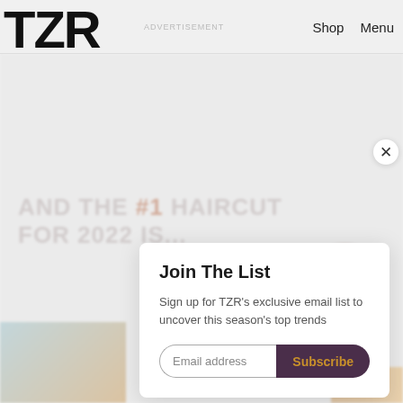TZR  ADVERTISEMENT  Shop  Menu
AND THE #1 HAIRCUT FOR 2022 IS...
Join The List
Sign up for TZR's exclusive email list to uncover this season's top trends
Email address  Subscribe